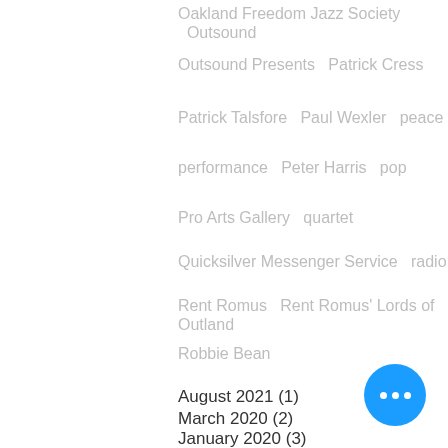Oakland Freedom Jazz Society   Outsound
Outsound Presents   Patrick Cress
Patrick Talsfore   Paul Wexler   peace
performance   Peter Harris   pop
Pro Arts Gallery   quartet
Quicksilver Messenger Service   radio
Rent Romus   Rent Romus' Lords of Outland
Robbie Bean
August 2021 (1)
March 2020 (2)
January 2020 (3)
December 2019 (4)
October 2019 (2)
September 2019 (2)